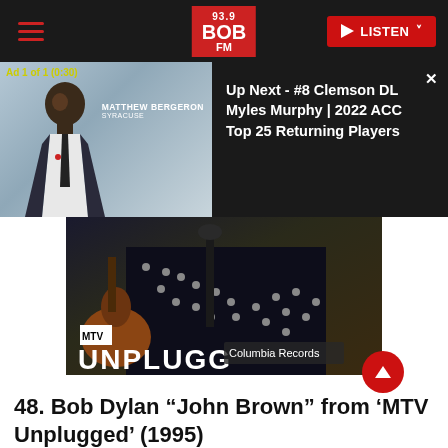93.9 BOB FM | LISTEN
[Figure (screenshot): Ad overlay showing Matthew Bergeron from Syracuse, with text: Up Next - #8 Clemson DL Myles Murphy | 2022 ACC Top 25 Returning Players]
[Figure (photo): Bob Dylan MTV Unplugged album cover showing performer at microphone with 'UNPLUGGED' text and Columbia Records label]
48. Bob Dylan “John Brown” from ‘MTV Unplugged’ (1995)
Share